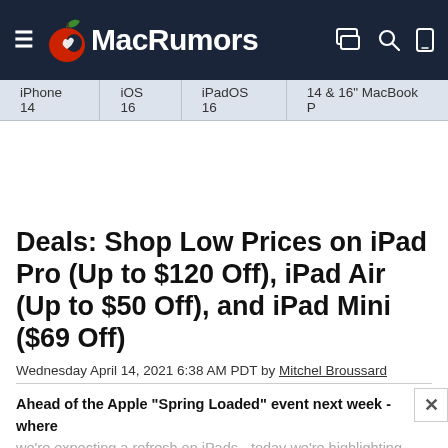MacRumors
iPhone 14 | iOS 16 | iPadOS 16 | 14 & 16" MacBook P
Deals: Shop Low Prices on iPad Pro (Up to $120 Off), iPad Air (Up to $50 Off), and iPad Mini ($69 Off)
Wednesday April 14, 2021 6:38 AM PDT by Mitchel Broussard
Ahead of the Apple "Spring Loaded" event next week - where we're expecting a refresh on iPads - today we're highlighting notable sales on Apple's current iPad Pro, iPad mini, and iPad